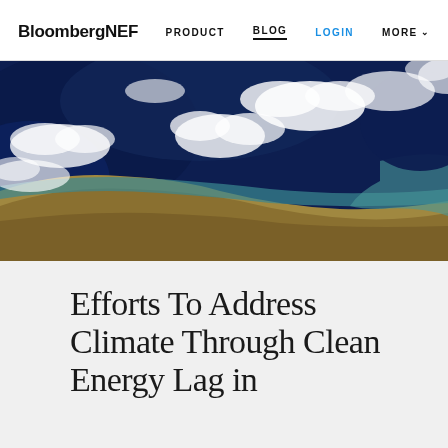BloombergNEF
PRODUCT | BLOG | LOGIN | MORE
[Figure (photo): Aerial/satellite view of a coastal landmass with blue ocean, sandy terrain, and white clouds, photographed from high altitude or space.]
Efforts To Address Climate Through Clean Energy Lag in